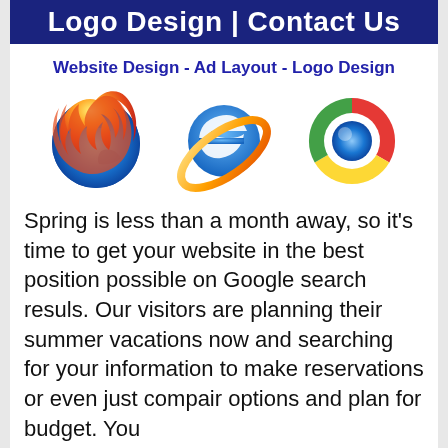Logo Design | Contact Us
Website Design - Ad Layout - Logo Design
[Figure (illustration): Three browser logos side by side: Firefox (orange fox with blue globe), Internet Explorer (blue e with golden orbit ring), and Google Chrome (red/yellow/green/blue circle logo)]
Spring is less than a month away, so it's time to get your website in the best position possible on Google search resuls. Our visitors are planning their summer vacations now and searching for your information to make reservations or even just compair options and plan for budget. You